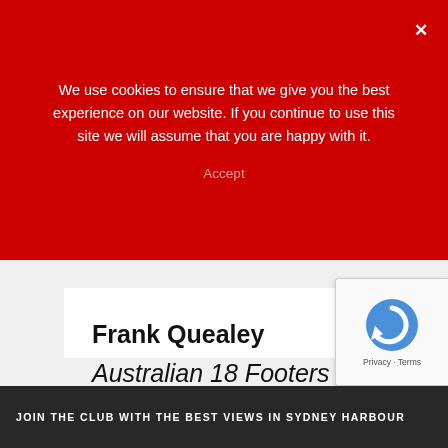We use cookies to ensure that we give you the best experience on our website. If you continue to use this site we will assume that you are happy with it.
Accept
Frank Quealey
Australian 18 Footers League Ltd.
JOIN THE CLUB WITH THE BEST VIEWS IN SYDNEY HARBOUR